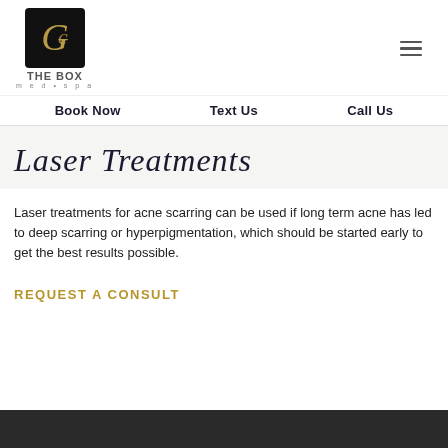[Figure (logo): The Box MedSpa logo — black square with gold script initials, with 'The BOX' and 'med spa' text below]
Laser Treatments
Laser treatments for acne scarring can be used if long term acne has led to deep scarring or hyperpigmentation, which should be started early to get the best results possible.
REQUEST A CONSULT